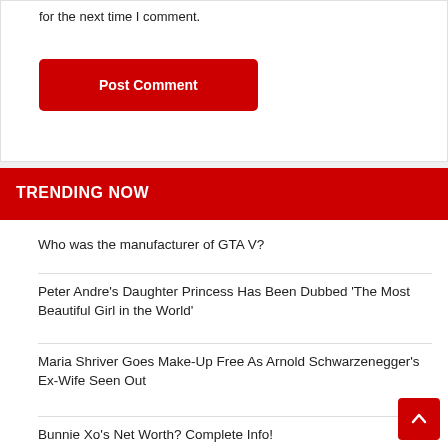for the next time I comment.
Post Comment
TRENDING NOW
Who was the manufacturer of GTA V?
Peter Andre's Daughter Princess Has Been Dubbed 'The Most Beautiful Girl in the World'
Maria Shriver Goes Make-Up Free As Arnold Schwarzenegger's Ex-Wife Seen Out
Bunnie Xo's Net Worth? Complete Info!